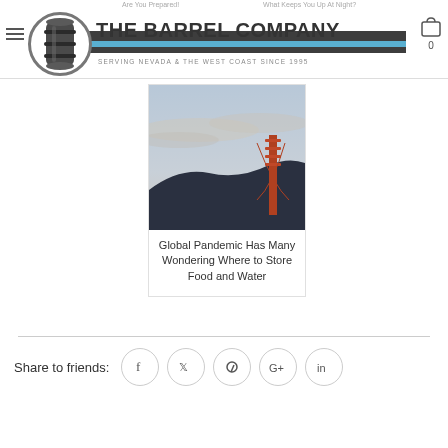THE BARREL COMPANY — SERVING NEVADA & THE WEST COAST SINCE 1995
[Figure (photo): Golden Gate Bridge tower with hills and cloudy sky in background]
Global Pandemic Has Many Wondering Where to Store Food and Water
Share to friends: